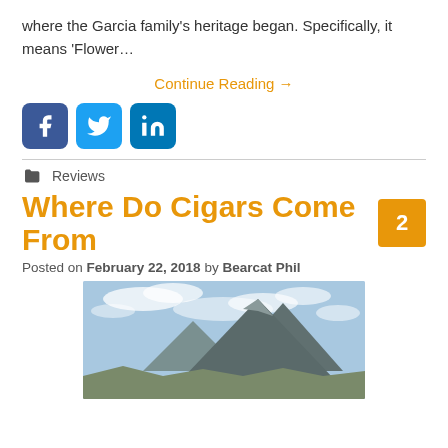where the Garcia family's heritage began.  Specifically, it means 'Flower…
Continue Reading →
[Figure (other): Social media share buttons: Facebook, Twitter, LinkedIn]
Reviews
Where Do Cigars Come From
Posted on February 22, 2018 by Bearcat Phil
[Figure (photo): Photograph of a mountain landscape with cloudy sky]